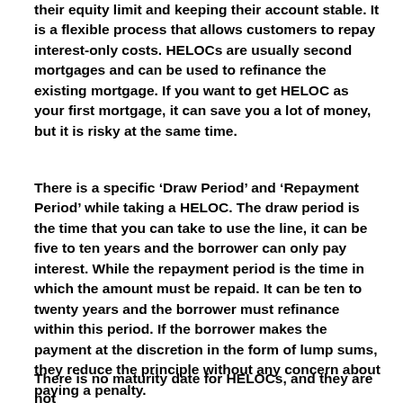their equity limit and keeping their account stable. It is a flexible process that allows customers to repay interest-only costs. HELOCs are usually second mortgages and can be used to refinance the existing mortgage. If you want to get HELOC as your first mortgage, it can save you a lot of money, but it is risky at the same time.
There is a specific ‘Draw Period’ and ‘Repayment Period’ while taking a HELOC. The draw period is the time that you can take to use the line, it can be five to ten years and the borrower can only pay interest. While the repayment period is the time in which the amount must be repaid. It can be ten to twenty years and the borrower must refinance within this period. If the borrower makes the payment at the discretion in the form of lump sums, they reduce the principle without any concern about paying a penalty.
There is no maturity date for HELOCs, and they are not